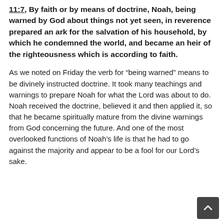11:7, By faith or by means of doctrine, Noah, being warned by God about things not yet seen, in reverence prepared an ark for the salvation of his household, by which he condemned the world, and became an heir of the righteousness which is according to faith.
As we noted on Friday the verb for “being warned” means to be divinely instructed doctrine. It took many teachings and warnings to prepare Noah for what the Lord was about to do. Noah received the doctrine, believed it and then applied it, so that he became spiritually mature from the divine warnings from God concerning the future. And one of the most overlooked functions of Noah’s life is that he had to go against the majority and appear to be a fool for our Lord’s sake.